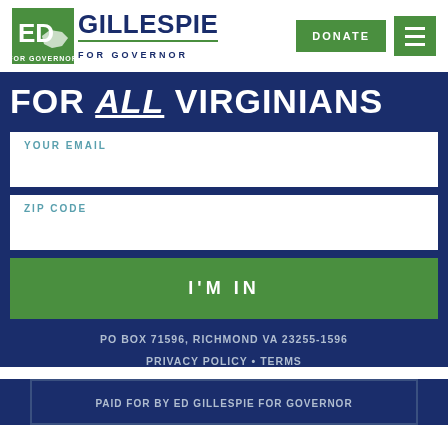[Figure (logo): Ed Gillespie for Governor logo with green square background containing Virginia state outline]
DONATE
☰ (hamburger menu icon)
FOR ALL VIRGINIANS
YOUR EMAIL
ZIP CODE
I'M IN
PO BOX 71596, RICHMOND VA 23255-1596
PRIVACY POLICY • TERMS
PAID FOR BY ED GILLESPIE FOR GOVERNOR